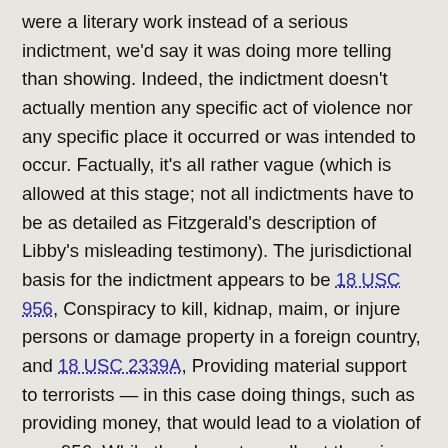were a literary work instead of a serious indictment, we'd say it was doing more telling than showing. Indeed, the indictment doesn't actually mention any specific act of violence nor any specific place it occurred or was intended to occur. Factually, it's all rather vague (which is allowed at this stage; not all indictments have to be as detailed as Fitzgerald's description of Libby's misleading testimony). The jurisdictional basis for the indictment appears to be 18 USC 956, Conspiracy to kill, kidnap, maim, or injure persons or damage property in a foreign country, and 18 USC 2339A, Providing material support to terrorists — in this case doing things, such as providing money, that would lead to a violation of sec. 956. While they have to spell out the crimes charged, indictments don't have to fully describe the facts on which the government bases its allegations — that comes later. That said, the indictment does a good job of suggesting